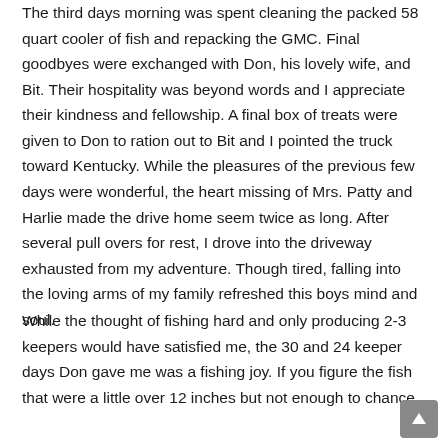The third days morning was spent cleaning the packed 58 quart cooler of fish and repacking the GMC. Final goodbyes were exchanged with Don, his lovely wife, and Bit. Their hospitality was beyond words and I appreciate their kindness and fellowship. A final box of treats were given to Don to ration out to Bit and I pointed the truck toward Kentucky. While the pleasures of the previous few days were wonderful, the heart missing of Mrs. Patty and Harlie made the drive home seem twice as long. After several pull overs for rest, I drove into the driveway exhausted from my adventure. Though tired, falling into the loving arms of my family refreshed this boys mind and soul.
While the thought of fishing hard and only producing 2-3 keepers would have satisfied me, the 30 and 24 keeper days Don gave me was a fishing joy. If you figure the fish that were a little over 12 inches but not enough to chance on the dining table and those we caught were numerous...